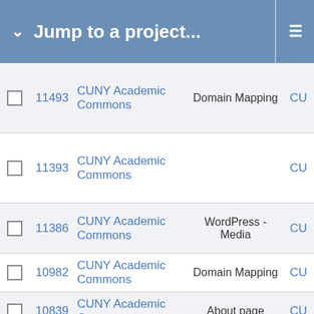Jump to a project...
|  | ID | Project | Category | Assignee |
| --- | --- | --- | --- | --- |
| ☐ | 11493 | CUNY Academic Commons | Domain Mapping | CU |
| ☐ | 11393 | CUNY Academic Commons |  | CU |
| ☐ | 11386 | CUNY Academic Commons | WordPress - Media | CU |
| ☐ | 10982 | CUNY Academic Commons | Domain Mapping | CU |
| ☐ | 10839 | CUNY Academic Commons | About page | CU |
| ☐ | 9515 | CUNY Academic Commons | WordPress Plugins | CU |